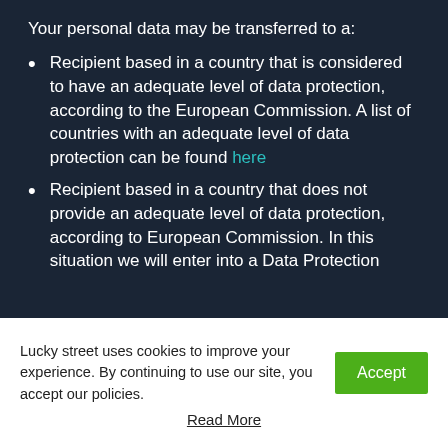Your personal data may be transferred to a:
Recipient based in a country that is considered to have an adequate level of data protection, according to the European Commission. A list of countries with an adequate level of data protection can be found here
Recipient based in a country that does not provide an adequate level of data protection, according to European Commission. In this situation we will enter into a Data Protection
Lucky street uses cookies to improve your experience. By continuing to use our site, you accept our policies.
Read More